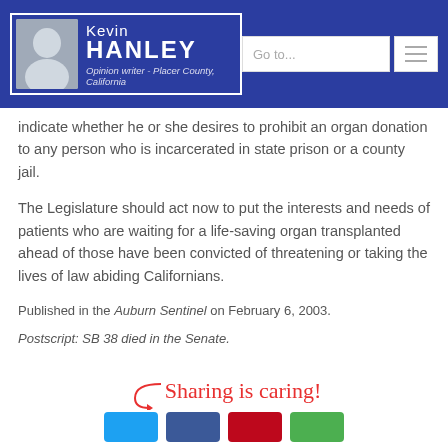Kevin HANLEY — Opinion writer - Placer County, California
indicate whether he or she desires to prohibit an organ donation to any person who is incarcerated in state prison or a county jail.
The Legislature should act now to put the interests and needs of patients who are waiting for a life-saving organ transplanted ahead of those have been convicted of threatening or taking the lives of law abiding Californians.
Published in the Auburn Sentinel on February 6, 2003.
Postscript: SB 38 died in the Senate.
[Figure (infographic): Sharing is caring! section with social media share buttons for Twitter, Facebook, Pinterest, and another platform]